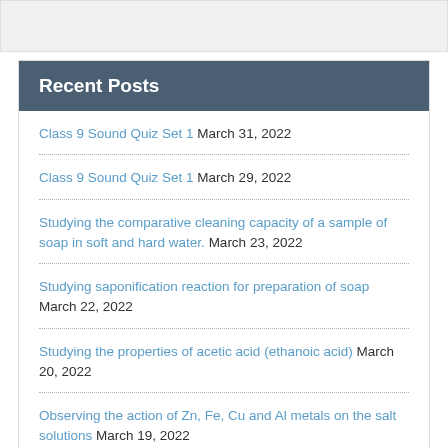Recent Posts
Class 9 Sound Quiz Set 1 March 31, 2022
Class 9 Sound Quiz Set 1 March 29, 2022
Studying the comparative cleaning capacity of a sample of soap in soft and hard water. March 23, 2022
Studying saponification reaction for preparation of soap March 22, 2022
Studying the properties of acetic acid (ethanoic acid) March 20, 2022
Observing the action of Zn, Fe, Cu and Al metals on the salt solutions March 19, 2022